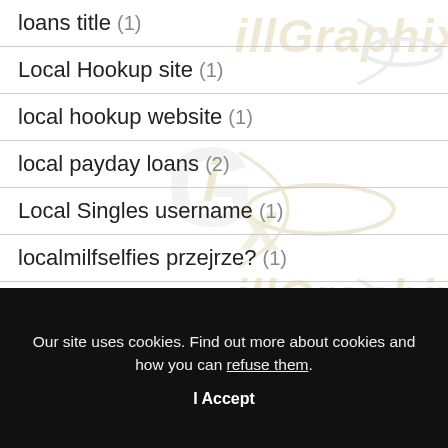loans title (1)
Local Hookup site (1)
local hookup website (1)
local payday loans (2)
Local Singles username (1)
localmilfselfies przejrze? (1)
localmilfselfies superpoteri liberi (1)
Our site uses cookies. Find out more about cookies and how you can refuse them.
I Accept